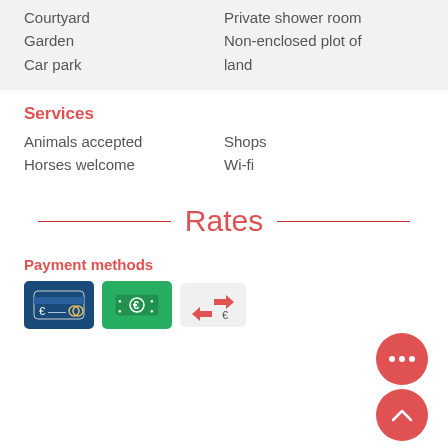Courtyard
Garden
Car park
Private shower room
Non-enclosed plot of land
Services
Animals accepted
Horses welcome
Shops
Wi-fi
Rates
Payment methods
[Figure (infographic): Three payment method icons: credit card with euro symbol, cash/banknotes with euro symbol, and currency exchange arrows with euro symbol]